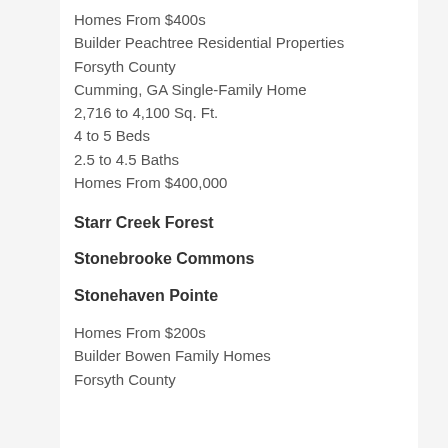Homes From $400s
Builder Peachtree Residential Properties
Forsyth County
Cumming, GA Single-Family Home
2,716 to 4,100 Sq. Ft.
4 to 5 Beds
2.5 to 4.5 Baths
Homes From $400,000
Starr Creek Forest
Stonebrooke Commons
Stonehaven Pointe
Homes From $200s
Builder Bowen Family Homes
Forsyth County